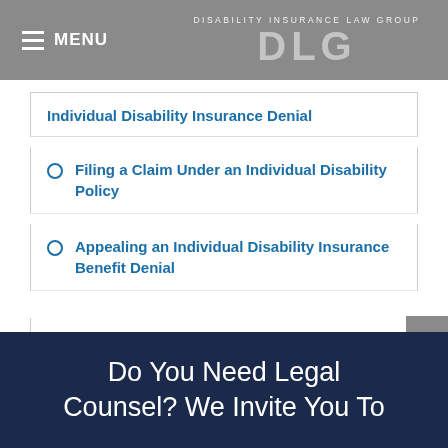MENU | DISABILITY INSURANCE LAW GROUP DLC
Individual Disability Insurance Denial
Filing a Claim Under an Individual Disability Policy
Appealing an Individual Disability Insurance Benefit Denial
Individual/Private Insurance Policy Lawsuits
Do You Need Legal Counsel? We Invite You To